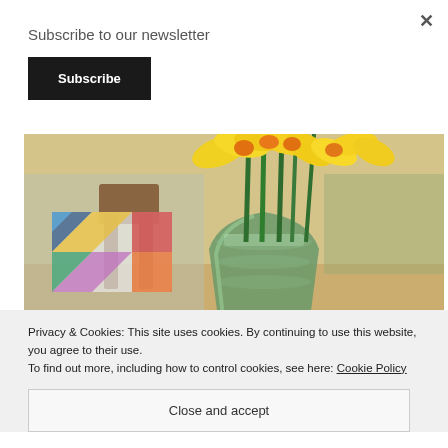Subscribe to our newsletter
Subscribe
[Figure (photo): A glass vase filled with yellow daffodils on a table, with a colorful patchwork quilt on a wooden chair in the blurred background.]
Privacy & Cookies: This site uses cookies. By continuing to use this website, you agree to their use.
To find out more, including how to control cookies, see here: Cookie Policy
Close and accept